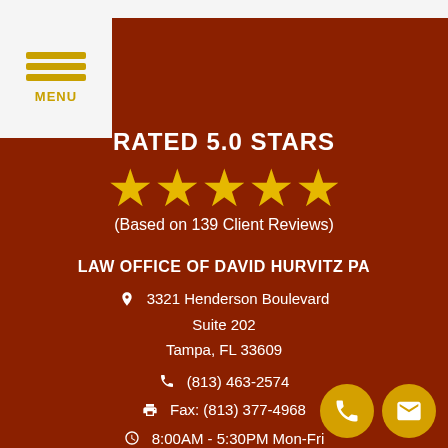MENU
RATED 5.0 STARS
[Figure (other): Five yellow stars rating graphic]
(Based on 139 Client Reviews)
LAW OFFICE OF DAVID HURVITZ PA
3321 Henderson Boulevard
Suite 202
Tampa, FL 33609
(813) 463-2574
Fax: (813) 377-4968
8:00AM - 5:30PM Mon-Fri
Weekends by Appt. Only